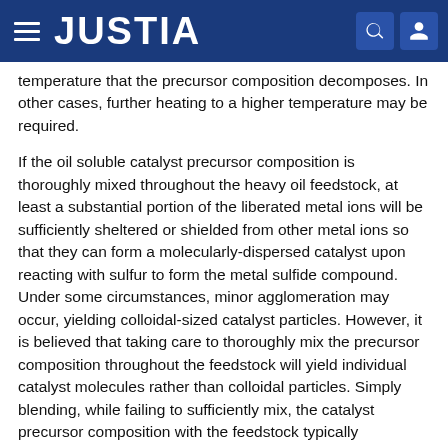JUSTIA
temperature that the precursor composition decomposes. In other cases, further heating to a higher temperature may be required.
If the oil soluble catalyst precursor composition is thoroughly mixed throughout the heavy oil feedstock, at least a substantial portion of the liberated metal ions will be sufficiently sheltered or shielded from other metal ions so that they can form a molecularly-dispersed catalyst upon reacting with sulfur to form the metal sulfide compound. Under some circumstances, minor agglomeration may occur, yielding colloidal-sized catalyst particles. However, it is believed that taking care to thoroughly mix the precursor composition throughout the feedstock will yield individual catalyst molecules rather than colloidal particles. Simply blending, while failing to sufficiently mix, the catalyst precursor composition with the feedstock typically